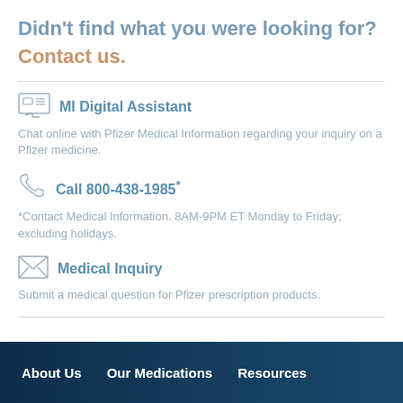Didn't find what you were looking for?
Contact us.
MI Digital Assistant
Chat online with Pfizer Medical Information regarding your inquiry on a Pfizer medicine.
Call 800-438-1985*
*Contact Medical Information. 8AM-9PM ET Monday to Friday; excluding holidays.
Medical Inquiry
Submit a medical question for Pfizer prescription products.
About Us   Our Medications   Resources